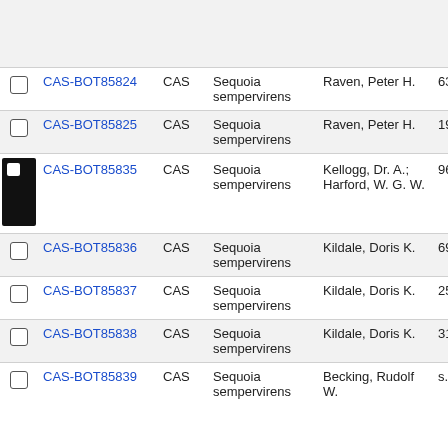|  | Catalog # | Inst. | Scientific Name | Collector | No. |
| --- | --- | --- | --- | --- | --- |
| ☐ | CAS-BOT85824 | CAS | Sequoia sempervirens | Raven, Peter H. | 6382 |
| ☐ | CAS-BOT85825 | CAS | Sequoia sempervirens | Raven, Peter H. | 19072 |
| ☑ | CAS-BOT85835 | CAS | Sequoia sempervirens | Kellogg, Dr. A.; Harford, W. G. W. | 960 |
| ☐ | CAS-BOT85836 | CAS | Sequoia sempervirens | Kildale, Doris K. | 6926 |
| ☐ | CAS-BOT85837 | CAS | Sequoia sempervirens | Kildale, Doris K. | 2557 |
| ☐ | CAS-BOT85838 | CAS | Sequoia sempervirens | Kildale, Doris K. | 3160 |
| ☐ | CAS-BOT85839 | CAS | Sequoia sempervirens | Becking, Rudolf W. | s.n. |